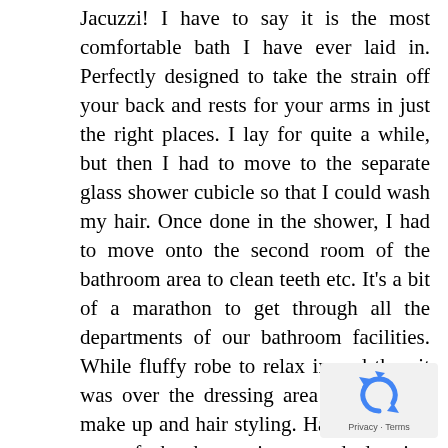Jacuzzi! I have to say it is the most comfortable bath I have ever laid in. Perfectly designed to take the strain off your back and rests for your arms in just the right places. I lay for quite a while, but then I had to move to the separate glass shower cubicle so that I could wash my hair. Once done in the shower, I had to move onto the second room of the bathroom area to clean teeth etc. It's a bit of a marathon to get through all the departments of our bathroom facilities. While fluffy robe to relax in and then it was over the dressing area to attend to make up and hair styling. Have to say its one of the best mirrors and dressing tables I have ever had on a ship. Mirrors to 3 sides, means that I can see front, sides and back of hair all at the same time. Mr C is still
[Figure (other): Google reCAPTCHA privacy badge with recycle/refresh icon and Privacy·Terms text]